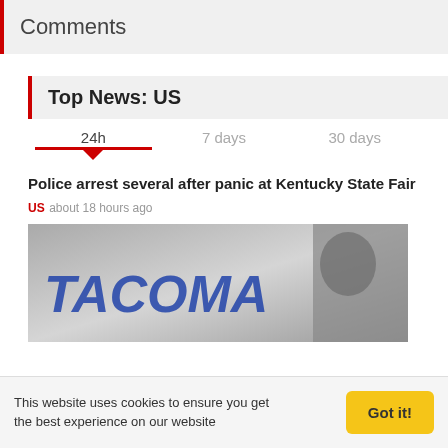Comments
Top News: US
24h   7 days   30 days
Police arrest several after panic at Kentucky State Fair
US   about 18 hours ago
[Figure (photo): Black and white photo showing a Tacoma branded vehicle door]
This website uses cookies to ensure you get the best experience on our website